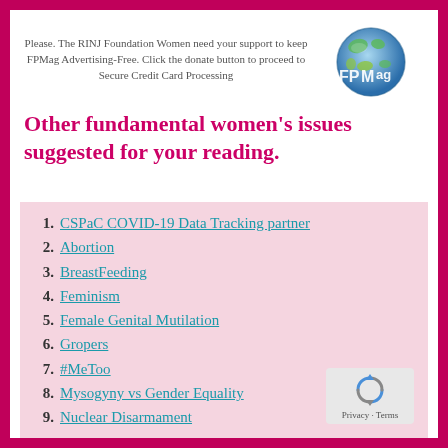Please. The RINJ Foundation Women need your support to keep FPMag Advertising-Free. Click the donate button to proceed to Secure Credit Card Processing
[Figure (logo): FPMag globe logo with blue/green Earth and FPMag text overlay]
Other fundamental women's issues suggested for your reading.
CSPaC COVID-19 Data Tracking partner
Abortion
BreastFeeding
Feminism
Female Genital Mutilation
Gropers
#MeToo
Mysogyny vs Gender Equality
Nuclear Disarmament